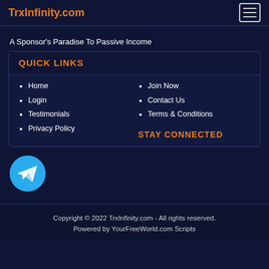TrxInfinity.com
A Sponsor's Paradise To Passive Income
QUICK LINKS
Home
Login
Testimonials
Privacy Policy
Join Now
Contact Us
Terms & Conditions
STAY CONNECTED
[Figure (logo): Telegram icon - blue circle with white paper plane]
Copyright © 2022 TrxInfinity.com - All rights reserved. Powered by YourFreeWorld.com Scripts